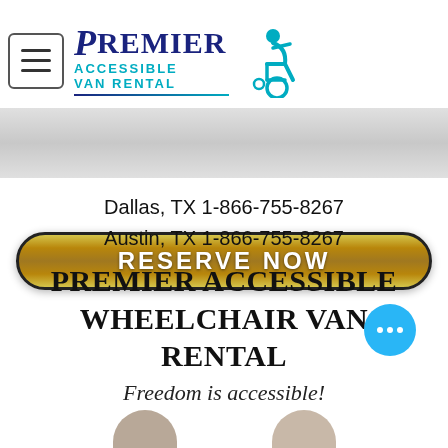[Figure (logo): Premier Accessible Van Rental logo with wheelchair icon, navy blue and teal colors, menu hamburger icon to the left]
[Figure (other): Gold/yellow RESERVE NOW button with dark border on a light gray banner background]
Dallas, TX 1-866-755-8267
Austin, TX 1-866-755-8267
PREMIER ACCESSIBLE WHEELCHAIR VAN RENTAL
Freedom is accessible!
[Figure (other): Blue circular chat button with three white dots in the bottom right corner]
[Figure (other): Two partial circular avatar images at the very bottom of the page]